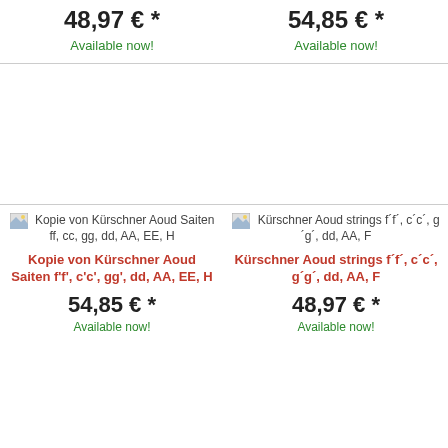48,97 € *
Available now!
54,85 € *
Available now!
[Figure (illustration): Kopie von Kürschner Aoud Saiten ff, cc, gg, dd, AA, EE, H product image placeholder]
Kopie von Kürschner Aoud Saiten f'f', c'c', gg', dd, AA, EE, H
54,85 € *
Available now!
[Figure (illustration): Kürschner Aoud strings f´f´, c´c´, g´g´, dd, AA, F product image placeholder]
Kürschner Aoud strings f´f´, c´c´, g´g´, dd, AA, F
48,97 € *
Available now!